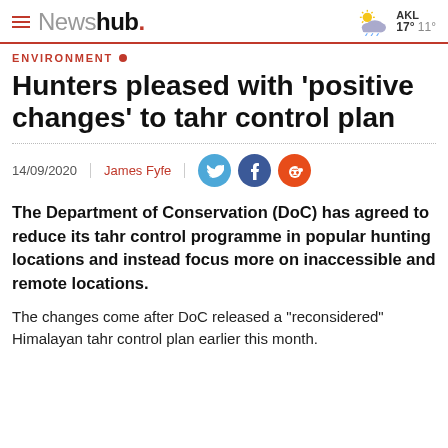Newshub. | AKL 17° 11°
ENVIRONMENT
Hunters pleased with 'positive changes' to tahr control plan
14/09/2020 | James Fyfe
The Department of Conservation (DoC) has agreed to reduce its tahr control programme in popular hunting locations and instead focus more on inaccessible and remote locations.
The changes come after DoC released a "reconsidered" Himalayan tahr control plan earlier this month.